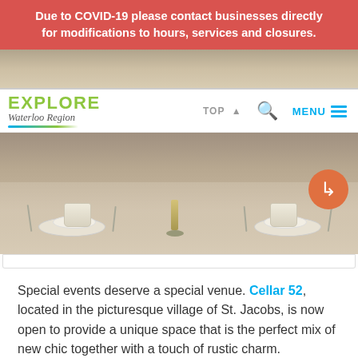Due to COVID-19 please contact businesses directly for modifications to hours, services and closures.
[Figure (photo): Top strip of a restaurant table setting with plates and floral arrangements]
[Figure (logo): Explore Waterloo Region logo with green EXPLORE text and stylized cursive Waterloo Region below, with teal/green underline]
[Figure (screenshot): Navigation bar with TOP arrow, search icon, and MENU icon in teal]
[Figure (photo): Main photo of formal table settings with white plates, cups, silverware, and a candle centerpiece on a grey tablecloth]
Special events deserve a special venue. Cellar 52, located in the picturesque village of St. Jacobs, is now open to provide a unique space that is the perfect mix of new chic together with a touch of rustic charm.
At Cellar 52 they offer a different type of environment that lends itself to the legacy of this 165 year old